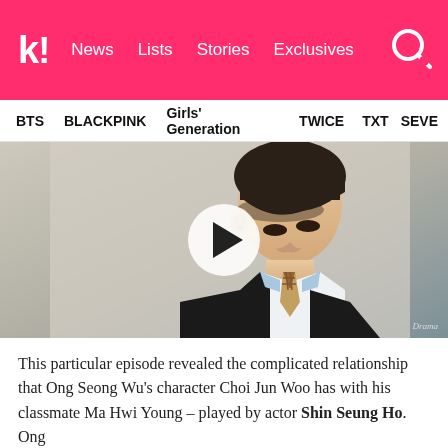k! News  Lists  Stories  Exclusives
BTS  BLACKPINK  Girls' Generation  TWICE  TXT  SEVE
[Figure (screenshot): Video thumbnail showing a young man in school uniform (white shirt, black vest, plaid tie) with dark bangs, looking downward. A white play button circle with a dark triangle is overlaid in the center.]
This particular episode revealed the complicated relationship that Ong Seong Wu's character Choi Jun Woo has with his classmate Ma Hwi Young – played by actor Shin Seung Ho. Ong